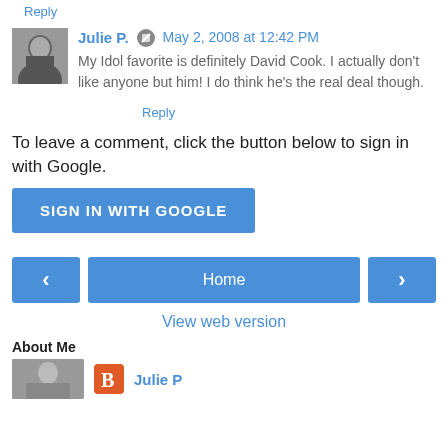Thanks for playing.
Reply
Julie P. May 2, 2008 at 12:42 PM
My Idol favorite is definitely David Cook. I actually don't like anyone but him! I do think he's the real deal though.
Reply
To leave a comment, click the button below to sign in with Google.
SIGN IN WITH GOOGLE
Home
View web version
About Me
Julie P